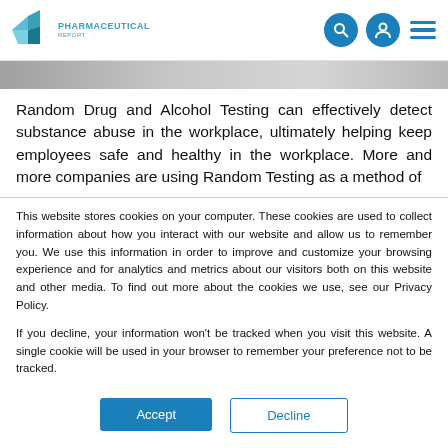PHARMACEUTICAL REPORT — navigation header with logo and icons
[Figure (photo): Partial photograph strip showing a blurred close-up image, likely a person or medical context]
Random Drug and Alcohol Testing can effectively detect substance abuse in the workplace, ultimately helping keep employees safe and healthy in the workplace. More and more companies are using Random Testing as a method of
This website stores cookies on your computer. These cookies are used to collect information about how you interact with our website and allow us to remember you. We use this information in order to improve and customize your browsing experience and for analytics and metrics about our visitors both on this website and other media. To find out more about the cookies we use, see our Privacy Policy.
If you decline, your information won't be tracked when you visit this website. A single cookie will be used in your browser to remember your preference not to be tracked.